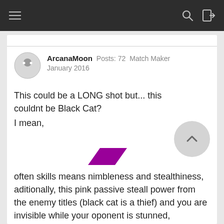ArcanaMoon  Posts: 72  Match Maker  January 2016
This could be a LONG shot but... this couldnt be Black Cat?
I mean,
[Figure (illustration): Small magenta/purple parallelogram shape]
often skills means nimbleness and stealthiness, aditionally, this pink passive steall power from the enemy titles (black cat is a thief) and you are invisible while your oponent is stunned, Nightcrawles you *puff* whereever he wants, he doesnt need to distract his oponent to turn invisible.